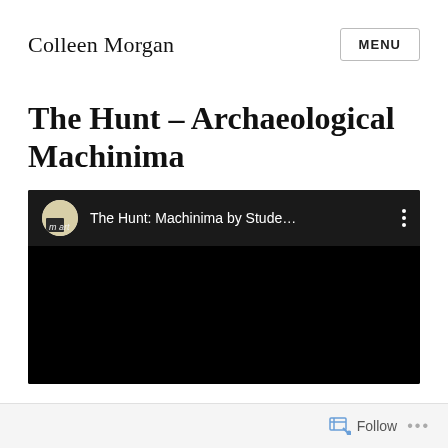Colleen Morgan
The Hunt – Archaeological Machinima
[Figure (screenshot): Embedded video player with black background showing title bar 'The Hunt: Machinima by Stude...' with a circular avatar thumbnail and three-dot menu icon]
Follow ...